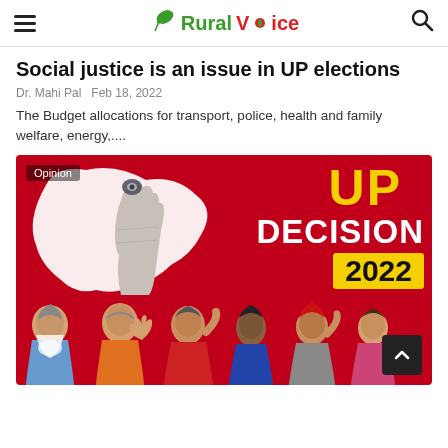Rural Voice
Social justice is an issue in UP elections
Dr. Mahi Pal   Feb 18, 2022
The Budget allocations for transport, police, health and family welfare, energy,....
[Figure (photo): Election campaign graphic with 'UP DECISION 2022' text on red background with map of Uttar Pradesh and a voter finger icon; politicians' photos at bottom including Modi, Yogi Adityanath, Akhilesh Yadav, Mayawati, and others]